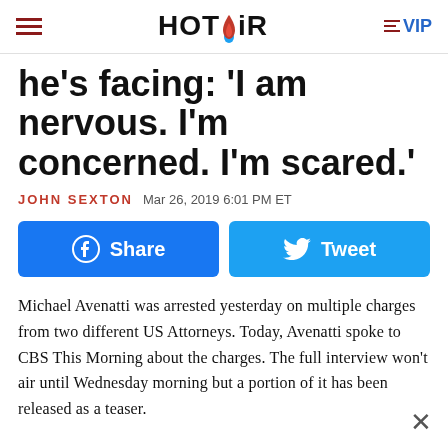HOT AIR  ≡VIP
he's facing: 'I am nervous. I'm concerned. I'm scared.'
JOHN SEXTON  Mar 26, 2019 6:01 PM ET
Share  Tweet
Michael Avenatti was arrested yesterday on multiple charges from two different US Attorneys. Today, Avenatti spoke to CBS This Morning about the charges. The full interview won't air until Wednesday morning but a portion of it has been released as a teaser.